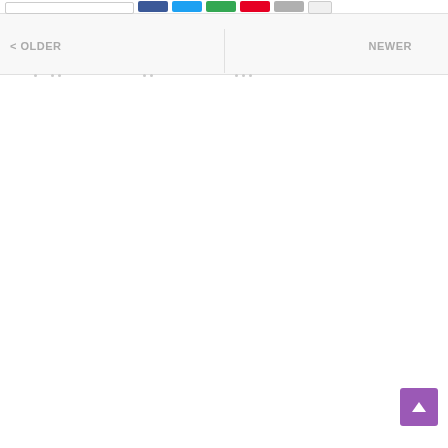[Figure (screenshot): Website navigation bar with share buttons (Facebook, Twitter, Google+, Pinterest, LinkedIn, more) and an input field. Below is a pagination bar with OLDER and NEWER navigation links separated by a vertical divider. A purple back-to-top button with an upward arrow is in the bottom-right corner.]